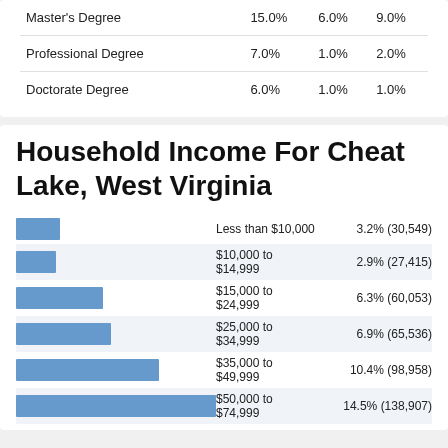|  |  |  |  |
| --- | --- | --- | --- |
| Master's Degree | 15.0% | 6.0% | 9.0% |
| Professional Degree | 7.0% | 1.0% | 2.0% |
| Doctorate Degree | 6.0% | 1.0% | 1.0% |
Household Income For Cheat Lake, West Virginia
[Figure (bar-chart): Household Income For Cheat Lake, West Virginia]